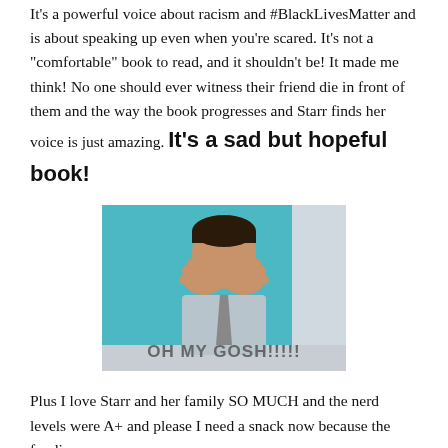It's a powerful voice about racism and #BlackLivesMatter and is about speaking up even when you're scared. It's not a "comfortable" book to read, and it shouldn't be! It made me think! No one should ever witness their friend die in front of them and the way the book progresses and Starr finds her voice is just amazing. It's a sad but hopeful book!
[Figure (photo): A meme image of a boy covering his face with both hands, against a teal background, with text overlay reading 'OH MY GOSH!!!!!' in dark bold letters.]
Plus I love Starr and her family SO MUCH and the nerd levels were A+ and please I need a snack now because the foodie